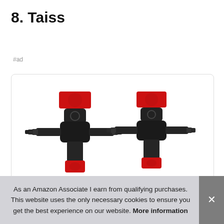8. Taiss
#ad
[Figure (photo): Two black plastic inline fuel shut-off valves with red lever handles, showing barbed fittings on both sides for hose connections.]
As an Amazon Associate I earn from qualifying purchases. This website uses the only necessary cookies to ensure you get the best experience on our website. More information